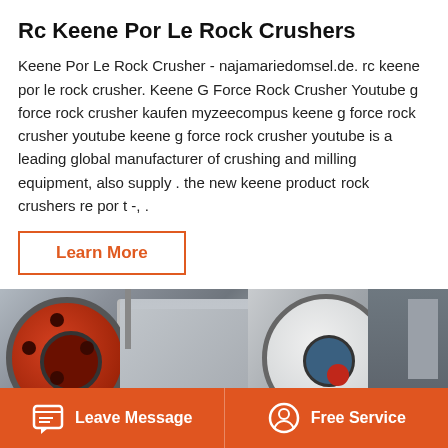Rc Keene Por Le Rock Crushers
Keene Por Le Rock Crusher - najamariedomsel.de. rc keene por le rock crusher. Keene G Force Rock Crusher Youtube g force rock crusher kaufen myzeecompus keene g force rock crusher youtube keene g force rock crusher youtube is a leading global manufacturer of crushing and milling equipment, also supply . the new keene product rock crushers re por t -, .
Learn More
[Figure (photo): Industrial rock crushers in a factory setting, showing large circular red and white flywheel components of jaw crusher machines]
Leave Message   Free Service